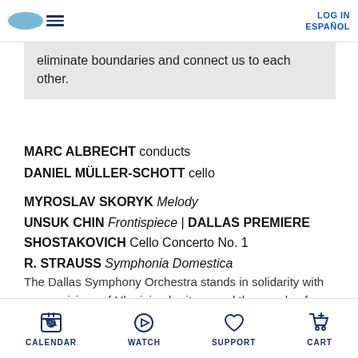LOG IN | ESPAÑOL
eliminate boundaries and connect us to each other.
MARC ALBRECHT conducts
DANIEL MÜLLER-SCHOTT cello
MYROSLAV SKORYK Melody
UNSUK CHIN Frontispiece | DALLAS PREMIERE
SHOSTAKOVICH Cello Concerto No. 1
R. STRAUSS Symphonia Domestica
The Dallas Symphony Orchestra stands in solidarity with our musicians of Ukrainian heritage and the people of Ukraine. As a tribute to their strength and courage, we open this program with Myroslav Skoryk's Melody and dedicate these concerts in their honor.
CALENDAR | WATCH | SUPPORT | CART